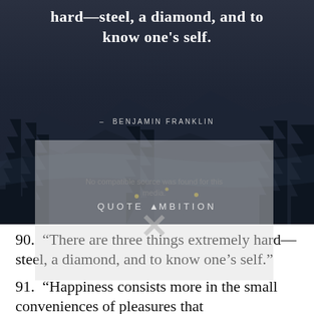[Figure (illustration): Dark moody photo of mountain landscape at night with pine tree silhouettes and road, overlaid with a Benjamin Franklin quote in white text and 'QUOTE AMBITION' branding at bottom]
90. “There are three things extremely hard—steel, a diamond, and to know one’s self.”
91. “Happiness consists more in the small conveniences of pleasures that